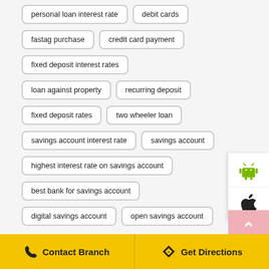personal loan interest rate
debit cards
fastag purchase
credit card payment
fixed deposit interest rates
loan against property
recurring deposit
fixed deposit rates
two wheeler loan
savings account interest rate
savings account
highest interest rate on savings account
best bank for savings account
digital savings account
open savings account
Contact Branch  Get Directions